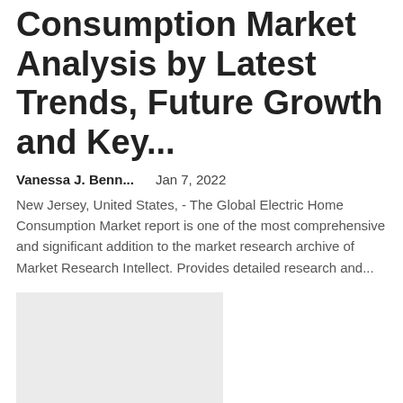Consumption Market Analysis by Latest Trends, Future Growth and Key...
Vanessa J. Benn...    Jan 7, 2022
New Jersey, United States, - The Global Electric Home Consumption Market report is one of the most comprehensive and significant addition to the market research archive of Market Research Intellect. Provides detailed research and...
[Figure (photo): Light gray image placeholder rectangle]
The Pickled Products Market